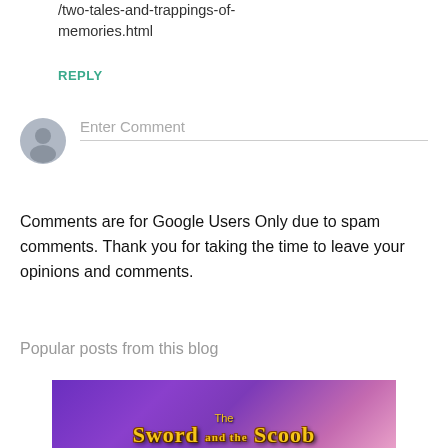/two-tales-and-trappings-of-memories.html
REPLY
[Figure (illustration): Gray silhouette avatar icon for comment input area]
Enter Comment
Comments are for Google Users Only due to spam comments. Thank you for taking the time to leave your opinions and comments.
Popular posts from this blog
[Figure (illustration): Partial book cover image with purple background showing fantasy title 'The Sword and the Scoob' in gold stylized lettering, with a pink character visible on the right edge]